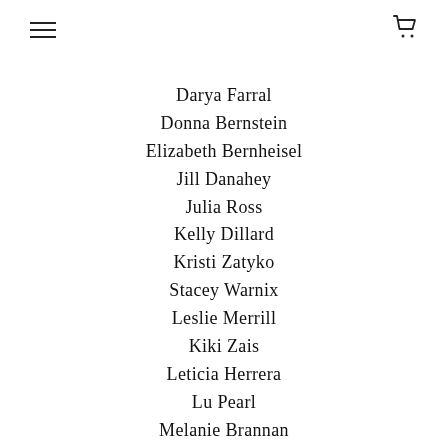≡  🛒
Darya Farral
Donna Bernstein
Elizabeth Bernheisel
Jill Danahey
Julia Ross
Kelly Dillard
Kristi Zatyko
Stacey Warnix
Leslie Merrill
Kiki Zais
Leticia Herrera
Lu Pearl
Melanie Brannan